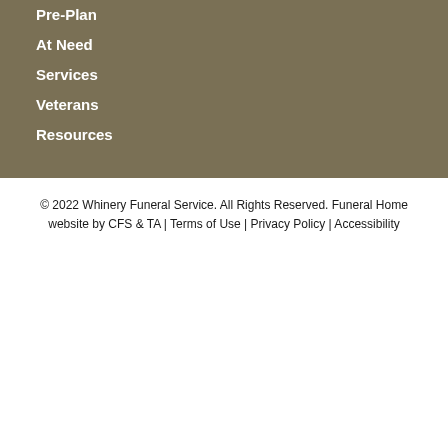Pre-Plan
At Need
Services
Veterans
Resources
© 2022 Whinery Funeral Service. All Rights Reserved. Funeral Home website by CFS & TA | Terms of Use | Privacy Policy | Accessibility